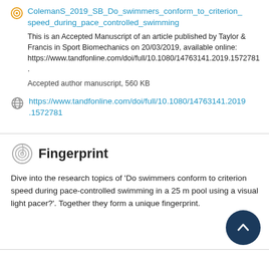ColemanS_2019_SB_Do_swimmers_conform_to_criterion_speed_during_pace_controlled_swimming
This is an Accepted Manuscript of an article published by Taylor & Francis in Sport Biomechanics on 20/03/2019, available online: https://www.tandfonline.com/doi/full/10.1080/14763141.2019.1572781 .
Accepted author manuscript, 560 KB
https://www.tandfonline.com/doi/full/10.1080/14763141.2019.1572781
Fingerprint
Dive into the research topics of 'Do swimmers conform to criterion speed during pace-controlled swimming in a 25 m pool using a visual light pacer?'. Together they form a unique fingerprint.